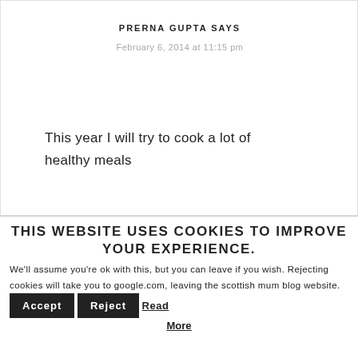PRERNA GUPTA SAYS
February 6, 2014 at 11:15 pm
This year I will try to cook a lot of healthy meals
THIS WEBSITE USES COOKIES TO IMPROVE YOUR EXPERIENCE.
We'll assume you're ok with this, but you can leave if you wish. Rejecting cookies will take you to google.com, leaving the scottish mum blog website.
Accept   Reject   Read More